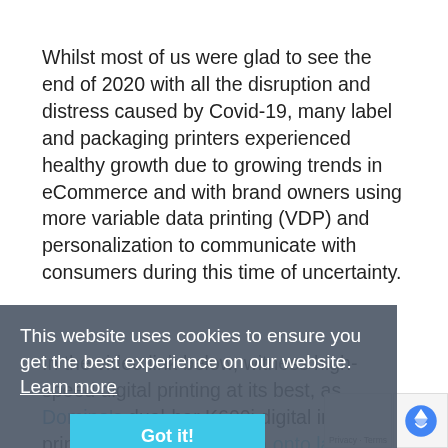Whilst most of us were glad to see the end of 2020 with all the disruption and distress caused by Covid-19, many label and packaging printers experienced healthy growth due to growing trends in eCommerce and with brand owners using more variable data printing (VDP) and personalization to communicate with consumers during this time of uncertainty.
This website uses cookies to ensure you get the best experience on our website. Learn more
In the video link below, witness high-speed digital printing at its best, as Domino's dual-bar K600i digital inkjet printer prints variable data onto labels, each with a unique linear barcode, QR code, and data matrix code, at 150 meters...